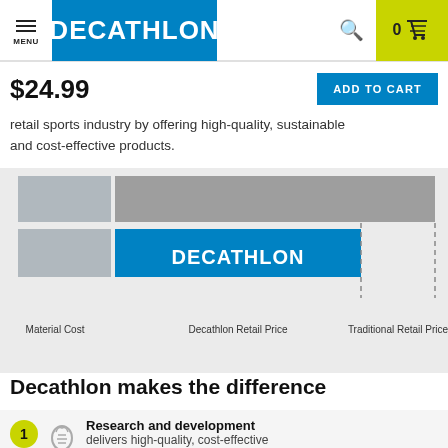MENU | DECATHLON | 0 (cart)
$24.99
ADD TO CART
retail sports industry by offering high-quality, sustainable and cost-effective products.
[Figure (bar-chart): Decathlon Price Comparison]
Decathlon makes the difference
Research and development
delivers high-quality, cost-effective